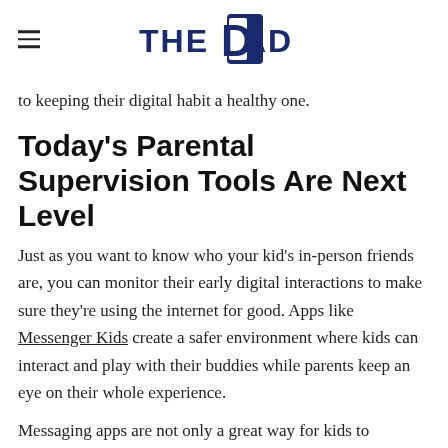THE DAD
to keeping their digital habit a healthy one.
Today's Parental Supervision Tools Are Next Level
Just as you want to know who your kid's in-person friends are, you can monitor their early digital interactions to make sure they're using the internet for good. Apps like Messenger Kids create a safer environment where kids can interact and play with their buddies while parents keep an eye on their whole experience.
Messaging apps are not only a great way for kids to